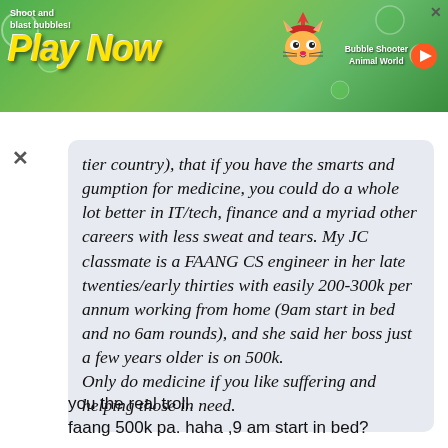[Figure (screenshot): Mobile game advertisement banner with green background, 'Play Now' text in yellow, animated cat character, bubbles, and 'Bubble Shooter Animal World' text]
tier country), that if you have the smarts and gumption for medicine, you could do a whole lot better in IT/tech, finance and a myriad other careers with less sweat and tears. My JC classmate is a FAANG CS engineer in her late twenties/early thirties with easily 200-300k per annum working from home (9am start in bed and no 6am rounds), and she said her boss just a few years older is on 500k.
Only do medicine if you like suffering and helping those in need.
you the real troll.
faang 500k pa. haha ,9 am start in bed?